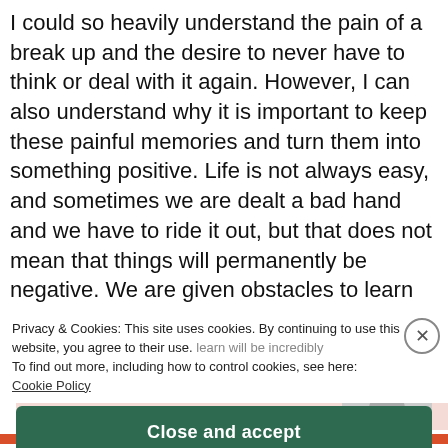I could so heavily understand the pain of a break up and the desire to never have to think or deal with it again. However, I can also understand why it is important to keep these painful memories and turn them into something positive. Life is not always easy, and sometimes we are dealt a bad hand and we have to ride it out, but that does not mean that things will permanently be negative. We are given obstacles to learn how to overcome them, not to simply never try and face them again. With every challenge we
Privacy & Cookies: This site uses cookies. By continuing to use this website, you agree to their use. To find out more, including how to control cookies, see here: Cookie Policy
Close and accept